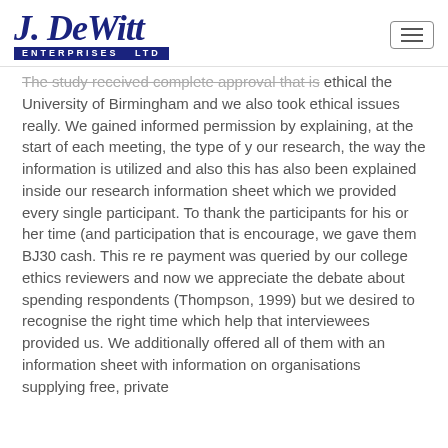J. DeWitt ENTERPRISES LTD
The study received complete approval that is ethical the University of Birmingham and we also took ethical issues really. We gained informed permission by explaining, at the start of each meeting, the type of your research, the way the information is utilized and also this has also been explained inside our research information sheet which we provided every single participant. To thank the participants for his or her time (and participation that is encourage, we gave them BJ30 cash. This re re payment was queried by our college ethics reviewers and now we appreciate the debate about spending respondents (Thompson, 1999) but we desired to recognise the right time which help that interviewees provided us. We additionally offered all of them with an information sheet with information on organisations supplying free, private